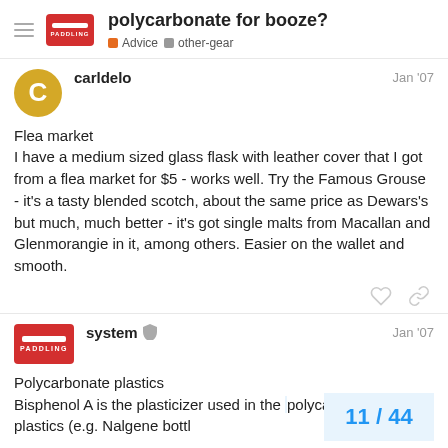polycarbonate for booze? Advice other-gear
carldelo Jan '07

Flea market
I have a medium sized glass flask with leather cover that I got from a flea market for $5 - works well. Try the Famous Grouse - it's a tasty blended scotch, about the same price as Dewars's but much, much better - it's got single malts from Macallan and Glenmorangie in it, among others. Easier on the wallet and smooth.
system Jan '07

Polycarbonate plastics
Bisphenol A is the plasticizer used in the polycarbonate plastics (e.g. Nalgene bottl
11 / 44